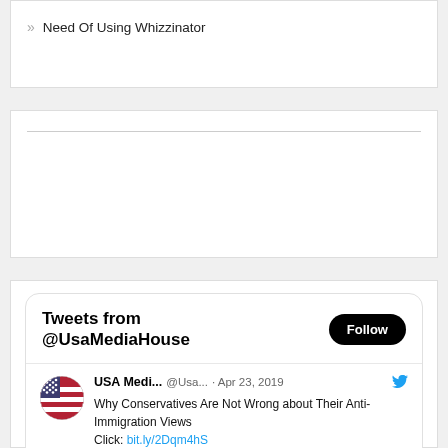Need Of Using Whizzinator
[Figure (screenshot): Embedded Twitter widget showing Tweets from @UsaMediaHouse. Includes a Follow button, a tweet by USA Medi... (@Usa...) from Apr 23, 2019 saying 'Why Conservatives Are Not Wrong about Their Anti-Immigration Views Click: bit.ly/2Dqm4hS usamediahouse.com/commom-argumen...' with a preview card showing usamediahouse.com and 'Why Conservatives Are']